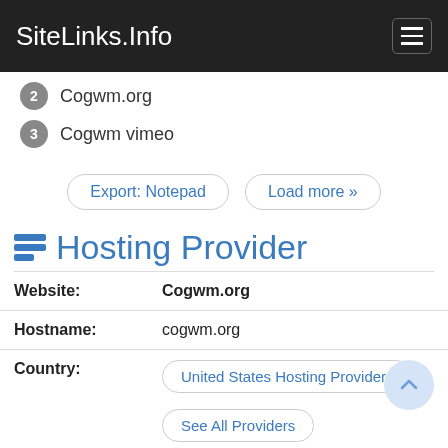SiteLinks.Info
2  Cogwm.org
3  Cogwm vimeo
Export: Notepad   Load more »
Hosting Provider
| Field | Value |
| --- | --- |
| Website: | Cogwm.org |
| Hostname: | cogwm.org |
| Country: | United States Hosting Providers
See All Providers |
| Latitude: | 37.750999450684 |